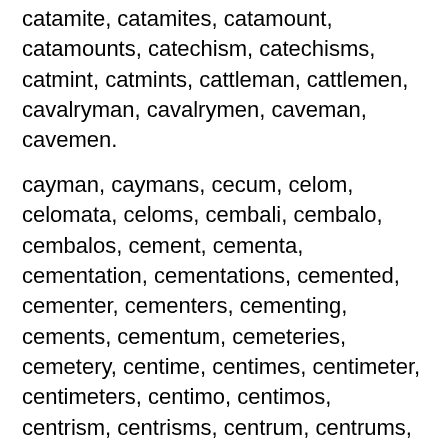catamite, catamites, catamount, catamounts, catechism, catechisms, catmint, catmints, cattleman, cattlemen, cavalryman, cavalrymen, caveman, cavemen.
cayman, caymans, cecum, celom, celomata, celoms, cembali, cembalo, cembalos, cement, cementa, cementation, cementations, cemented, cementer, cementers, cementing, cements, cementum, cemeteries, cemetery, centime, centimes, centimeter, centimeters, centimo, centimos, centrism, centrisms, centrum, centrums, centum, centums, ceramal, ceramals, ceramic, ceramics, ceramist, ceramists.
cerebellum, cerebellums, cerebrum, cerebrums, cerement, cerements, ceremonial, ceremonies, ceremonious, ceremony, cerium, ceriums, cermet, cermets, cerumen, cerumens, cesium, cesiums,